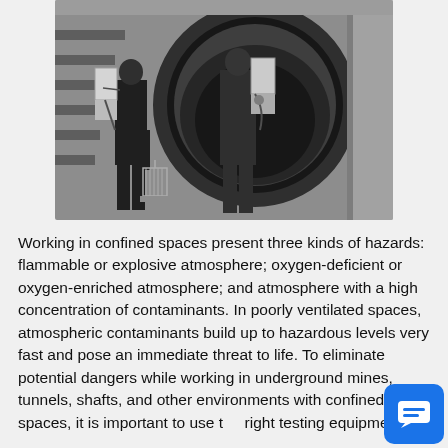[Figure (photo): Black and white historical photograph of two workers wearing breathing apparatus (self-contained oxygen packs on their backs) entering a large circular tunnel or shaft opening. One worker is holding a small birdcage near the ground, a canary used for gas detection. The circular frame of the tunnel/shaft is prominent in the scene.]
Working in confined spaces present three kinds of hazards: flammable or explosive atmosphere; oxygen-deficient or oxygen-enriched atmosphere; and atmosphere with a high concentration of contaminants. In poorly ventilated spaces, atmospheric contaminants build up to hazardous levels very fast and pose an immediate threat to life. To eliminate potential dangers while working in underground mines, tunnels, shafts, and other environments with confined spaces, it is important to use the right testing equipment.